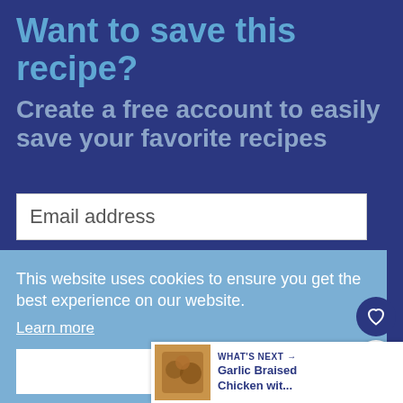Want to save this recipe?
Create a free account to easily save your favorite recipes
Email address
This website uses cookies to ensure you get the best experience on our website.
Learn more
Got it
WHAT'S NEXT → Garlic Braised Chicken wit...